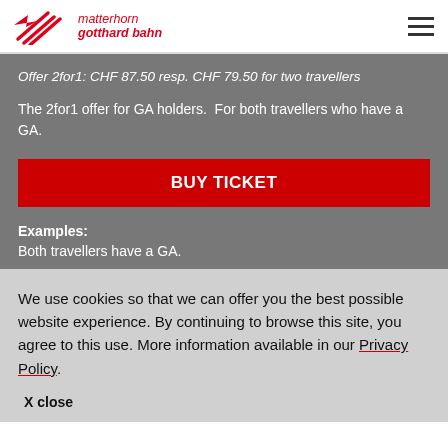matterhorn gotthard bahn
Offer 2for1: CHF 87.50 resp. CHF 79.50 for two travellers
The 2for1 offer for GA holders.  For both travellers who have a GA.
BUY TICKET
Examples:
Both travellers have a GA.
We use cookies so that we can offer you the best possible website experience. By continuing to browse this site, you agree to this use. More information available in our Privacy Policy.
X close